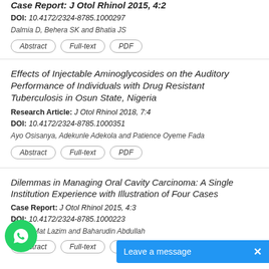Case Report: J Otol Rhinol 2015, 4:2 — DOI: 10.4172/2324-8785.1000297 — Dalmia D, Behera SK and Bhatia JS — [Abstract] [Full-text] [PDF]
Effects of Injectable Aminoglycosides on the Auditory Performance of Individuals with Drug Resistant Tuberculosis in Osun State, Nigeria
Research Article: J Otol Rhinol 2018, 7:4
DOI: 10.4172/2324-8785.1000351
Ayo Osisanya, Adekunle Adekola and Patience Oyeme Fada
Dilemmas in Managing Oral Cavity Carcinoma: A Single Institution Experience with Illustration of Four Cases
Case Report: J Otol Rhinol 2015, 4:3
DOI: 10.4172/2324-8785.1000223
Hafiza Mat Lazim and Baharudin Abdullah